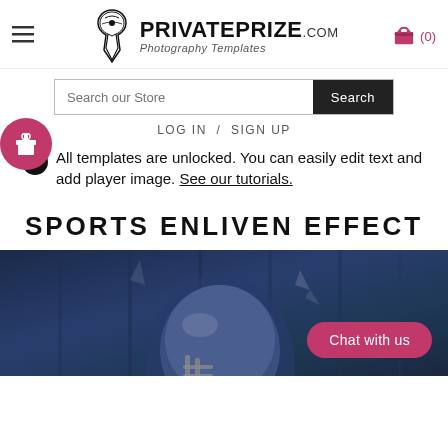[Figure (logo): PrivatePrize.com Photography Templates logo with decorative pen nib icon]
[Figure (screenshot): Search bar with text 'Search our Store' and dark Search button]
LOG IN / SIGN UP
All templates are unlocked. You can easily edit text and add player image. See our tutorials.
SPORTS ENLIVEN EFFECT
[Figure (photo): Football player wearing a blue helmet against a dark blue wooden background with a pink 'Chat with us' button overlay]